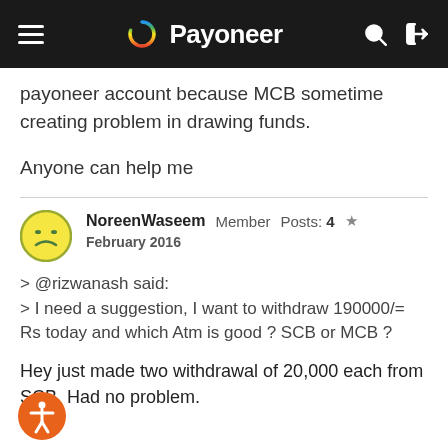Payoneer
payoneer account because MCB sometime creating problem in drawing funds.
Anyone can help me
NoreenWaseem  Member  Posts: 4  ★  February 2016
> @rizwanash said:
> I need a suggestion, I want to withdraw 190000/= Rs today and which Atm is good ? SCB or MCB ?

Hey just made two withdrawal of 20,000 each from SCB. Had no problem.